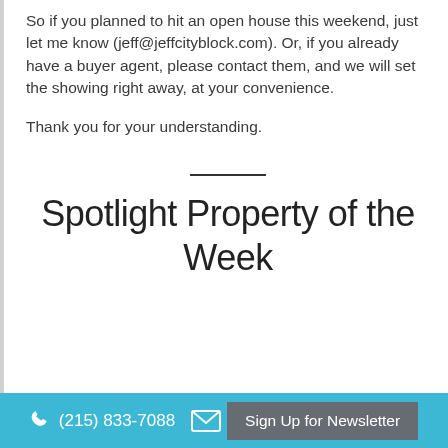So if you planned to hit an open house this weekend, just let me know (jeff@jeffcityblock.com). Or, if you already have a buyer agent, please contact them, and we will set the showing right away, at your convenience.
Thank you for your understanding.
Spotlight Property of the Week
(215) 833-7088   Sign Up for Newsletter